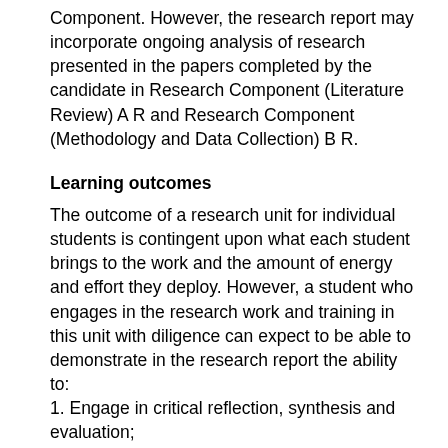Component. However, the research report may incorporate ongoing analysis of research presented in the papers completed by the candidate in Research Component (Literature Review) A R and Research Component (Methodology and Data Collection) B R.
Learning outcomes
The outcome of a research unit for individual students is contingent upon what each student brings to the work and the amount of energy and effort they deploy. However, a student who engages in the research work and training in this unit with diligence can expect to be able to demonstrate in the research report the ability to:
1. Engage in critical reflection, synthesis and evaluation;
2. Develop, adapt and implement research methodologies to extend and redefine existing professional practice and the production and/or application of knowledge;